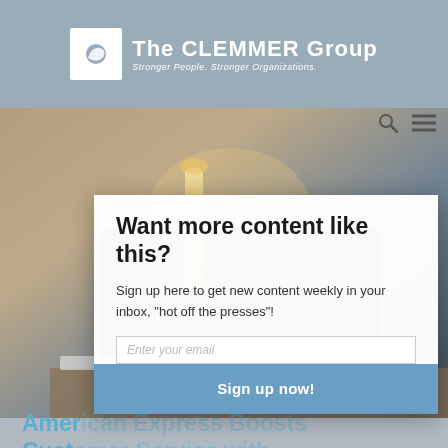The CLEMMER Group — Stronger People. Stronger Organizations.
[Figure (screenshot): Screenshot of The Clemmer Group website showing a blog article page with a popup modal overlay. Background shows a photo of a laptop and lamp on a desk. The main page shows a blog article titled 'American Express Boosts Customer Service with Training, Leadership and Culture'. A modal dialog overlaps the content asking 'Want more content like this?' with a sign-up email form and 'Sign up now!' button.]
Want more content like this?
Sign up here to get new content weekly in your inbox, "hot off the presses"!
Enter your email
Sign up now!
Blog
American Express Boosts Customer Service with Training, Leadership and Culture
Just after writing my last blog on improving customer service by treating your employees better I came across an interview on Jim